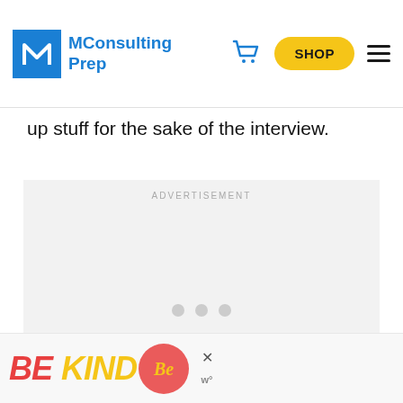MConsulting Prep — SHOP
up stuff for the sake of the interview.
[Figure (other): Advertisement placeholder box with 'ADVERTISEMENT' label and three grey loading dots]
[Figure (other): Bottom banner ad reading 'BE KIND' in bold red and yellow text with decorative script and close button]